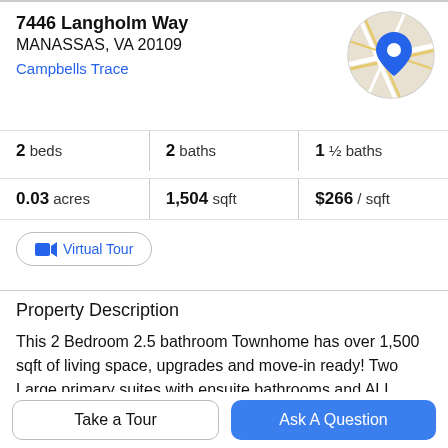7446 Langholm Way
MANASSAS, VA 20109
Campbells Trace
[Figure (map): Circular map thumbnail with street map and blue location pin marker]
2 beds | 2 baths | 1 ½ baths
0.03 acres | 1,504 sqft | $266 / sqft
Virtual Tour
Property Description
This 2 Bedroom 2.5 bathroom Townhome has over 1,500 sqft of living space, upgrades and move-in ready! Two Large primary suites with ensuite bathrooms and ALL MAINTENANCE KEPT UP! New flooring throughout the
Take a Tour
Ask A Question